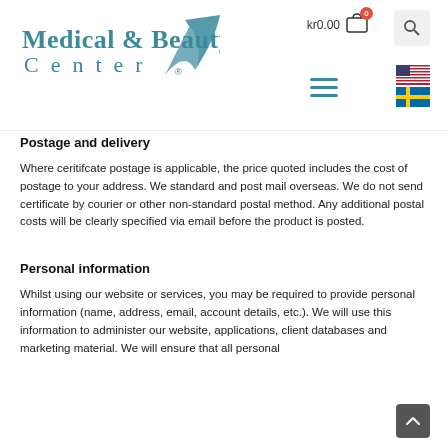[Figure (logo): Medical & Beauty Center logo with teal lettering and stylized arrow/bird mark]
Postage and delivery
Where ceritifcate postage is applicable, the price quoted includes the cost of postage to your address. We standard and post mail overseas. We do not send certificate by courier or other non-standard postal method. Any additional postal costs will be clearly specified via email before the product is posted.
Personal information
Whilst using our website or services, you may be required to provide personal information (name, address, email, account details, etc.). We will use this information to administer our website, applications, client databases and marketing material. We will ensure that all personal